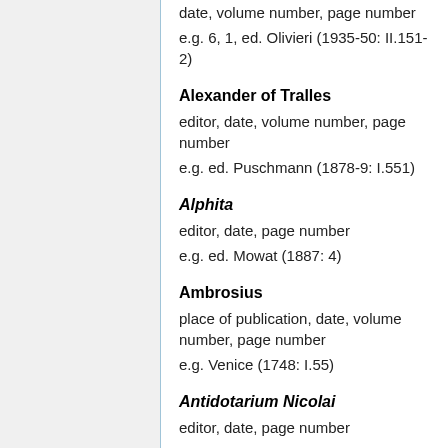date, volume number, page number
e.g. 6, 1, ed. Olivieri (1935-50: II.151-2)
Alexander of Tralles
editor, date, volume number, page number
e.g. ed. Puschmann (1878-9: I.551)
Alphita
editor, date, page number
e.g. ed. Mowat (1887: 4)
Ambrosius
place of publication, date, volume number, page number
e.g. Venice (1748: I.55)
Antidotarium Nicolai
editor, date, page number